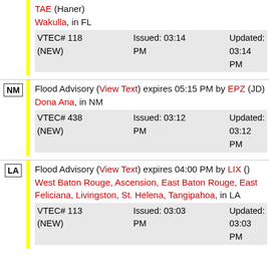TAE (Haner)
Wakulla, in FL
VTEC# 118 (NEW)  Issued: 03:14 PM  Updated: 03:14 PM
Flood Advisory (View Text) expires 05:15 PM by EPZ (JD)
Dona Ana, in NM
VTEC# 438 (NEW)  Issued: 03:12 PM  Updated: 03:12 PM
Flood Advisory (View Text) expires 04:00 PM by LIX ()
West Baton Rouge, Ascension, East Baton Rouge, East Feliciana, Livingston, St. Helena, Tangipahoa, in LA
VTEC# 113 (NEW)  Issued: 03:03 PM  Updated: 03:03 PM